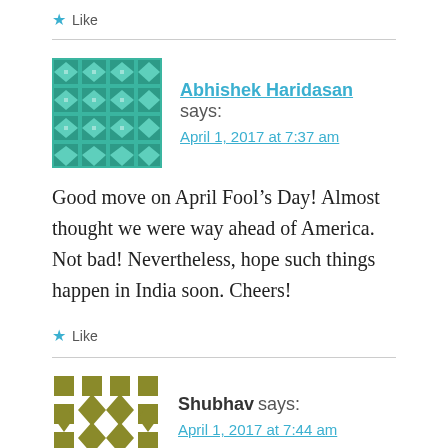★ Like
Abhishek Haridasan says:
April 1, 2017 at 7:37 am
Good move on April Fool's Day! Almost thought we were way ahead of America. Not bad! Nevertheless, hope such things happen in India soon. Cheers!
★ Like
Shubhav says:
April 1, 2017 at 7:44 am
HA ha.. u guys are good.